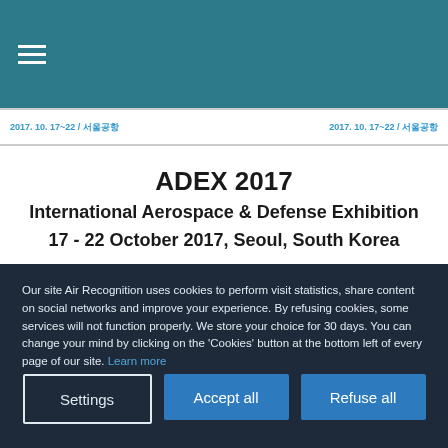≡ (hamburger menu)
[Figure (screenshot): Banner strip with Korean text: 2017. 10. 17~22 / 서울공항 on both left and right sides]
ADEX 2017
International Aerospace & Defense Exhibition
17 - 22 October 2017, Seoul, South Korea
Show Daily News
Our site Air Recognition uses cookies to perform visit statistics, share content on social networks and improve your experience. By refusing cookies, some services will not function properly. We store your choice for 30 days. You can change your mind by clicking on the 'Cookies' button at the bottom left of every page of our site. Learn more
Settings | Accept all | Refuse all